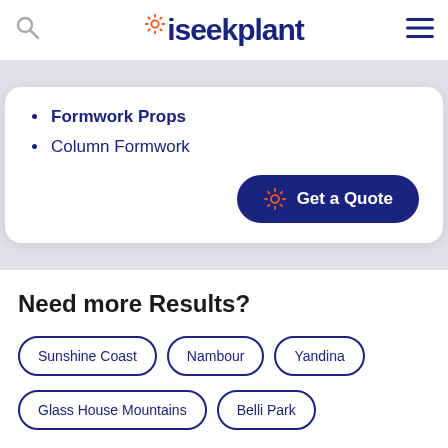iseekplant
Formwork Props
Column Formwork
Get a Quote
Need more Results?
Sunshine Coast
Nambour
Yandina
Glass House Mountains
Belli Park